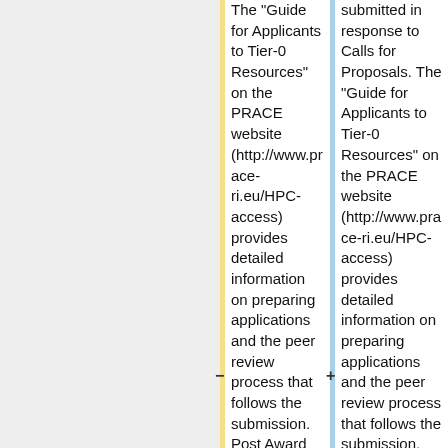The "Guide for Applicants to Tier-0 Resources" on the PRACE website (http://www.prace-ri.eu/HPC-access) provides detailed information on preparing applications and the peer review process that follows the submission. Post Award obligations include a final report and acknowledgement of PRACE
submitted in response to Calls for Proposals. The "Guide for Applicants to Tier-0 Resources" on the PRACE website (http://www.prace-ri.eu/HPC-access) provides detailed information on preparing applications and the peer review process that follows the submission. Post Award obligations include a final